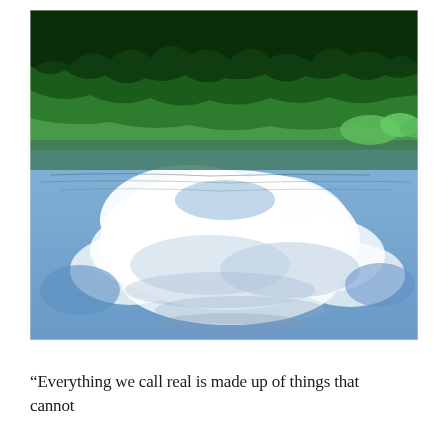[Figure (photo): A lake reflecting green forest trees along the upper edge and dramatic white clouds and blue sky in the lower portion of the water. The reflection creates a mirror image of the sky below and trees at top. The scene is vivid with lush green vegetation and bright cloud formations.]
“Everything we call real is made up of things that cannot